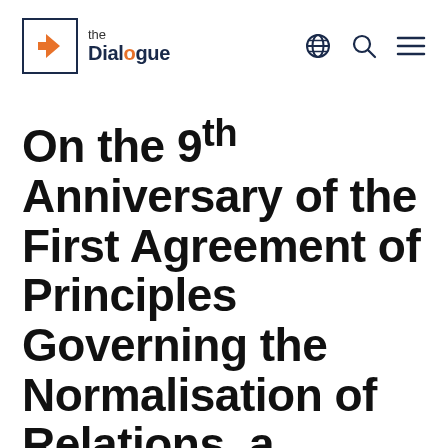the Dialogue
On the 9th Anniversary of the First Agreement of Principles Governing the Normalisation of Relations, a second and final agreement between Kosovo and Serbia is not on the